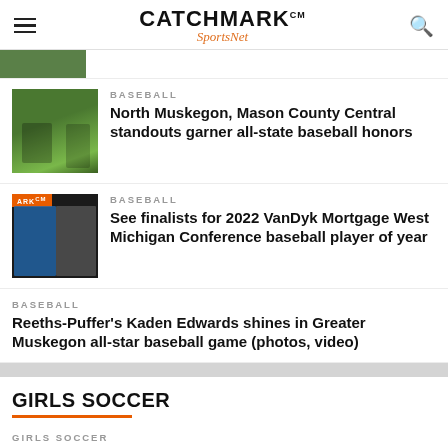CATCHMARK CM SportsNet
[Figure (photo): Partial cropped photo of a baseball field with green background, top of page]
BASEBALL
North Muskegon, Mason County Central standouts garner all-state baseball honors
[Figure (photo): Baseball players on a field with green trees in background]
BASEBALL
See finalists for 2022 VanDyk Mortgage West Michigan Conference baseball player of year
[Figure (photo): ARK branded composite image of baseball players with orange and dark background]
BASEBALL
Reeths-Puffer's Kaden Edwards shines in Greater Muskegon all-star baseball game (photos, video)
GIRLS SOCCER
GIRLS SOCCER